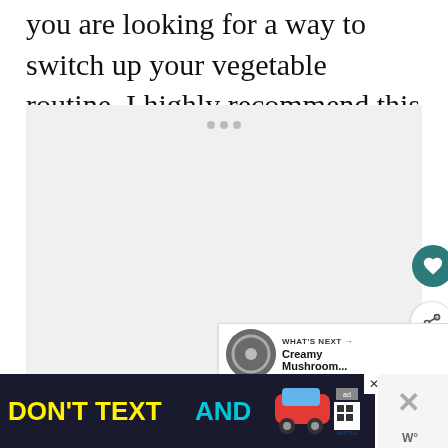you are looking for a way to switch up your vegetable routine, I highly recommend this soup!
[Figure (other): Large light gray image placeholder area with three small gray dots at top center, with a heart/favorite button (teal circle) and share button (white circle) overlaid on the right side, and a 'WHAT'S NEXT' panel at bottom right showing a thumbnail and 'Creamy Mushroom...' text]
[Figure (screenshot): Ad banner at bottom: 'DON'T TEXT AND' in yellow and cyan bold text with a red car emoji, ad badge and NHTSA logo on right, close X button]